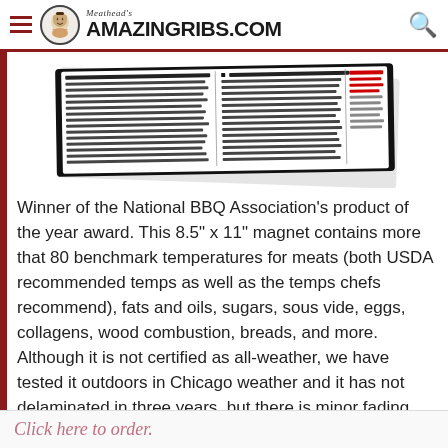Meathead's AmazingRibs.com
[Figure (photo): A photograph of the Meathead's AmazingRibs temperature magnet product, showing a black-framed reference chart with meat temperatures, displayed at an angle on a white background.]
Winner of the National BBQ Association's product of the year award. This 8.5" x 11" magnet contains more that 80 benchmark temperatures for meats (both USDA recommended temps as well as the temps chefs recommend), fats and oils, sugars, sous vide, eggs, collagens, wood combustion, breads, and more. Although it is not certified as all-weather, we have tested it outdoors in Chicago weather and it has not delaminated in three years, but there is minor fading.
Click here to order.